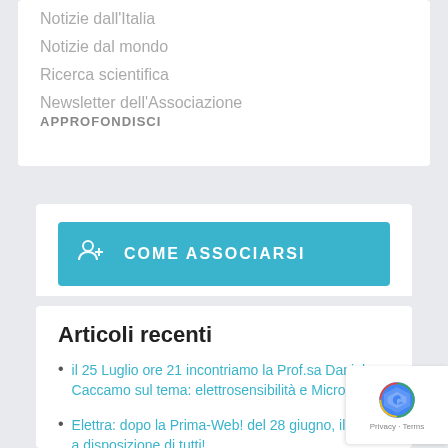Notizie dall'Italia
Notizie dal mondo
Ricerca scientifica
Newsletter dell'Associazione
APPROFONDISCI
COME ASSOCIARSI
Articoli recenti
il 25 Luglio ore 21 incontriamo la Prof.sa Daniela Caccamo sul tema: elettrosensibilità e Microbiota
Elettra: dopo la Prima-Web! del 28 giugno, il film è a disposizione di tutti!
Elettra: il 11 Giugno a Palermo ore 21.00...